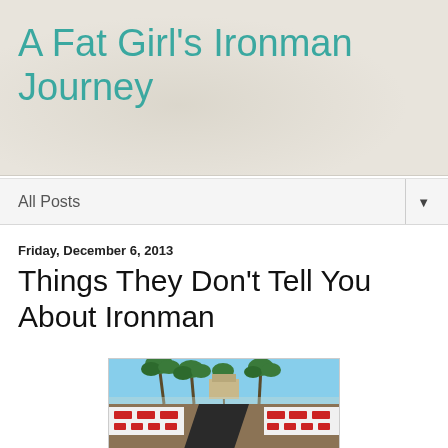A Fat Girl's Ironman Journey
All Posts
Friday, December 6, 2013
Things They Don't Tell You About Ironman
[Figure (photo): A race course boardwalk lined with red and white barriers, palm trees in background, dark mat on the ground, blue sky above.]